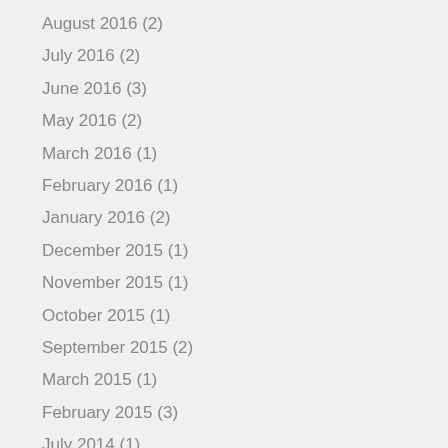August 2016 (2)
July 2016 (2)
June 2016 (3)
May 2016 (2)
March 2016 (1)
February 2016 (1)
January 2016 (2)
December 2015 (1)
November 2015 (1)
October 2015 (1)
September 2015 (2)
March 2015 (1)
February 2015 (3)
July 2014 (1)